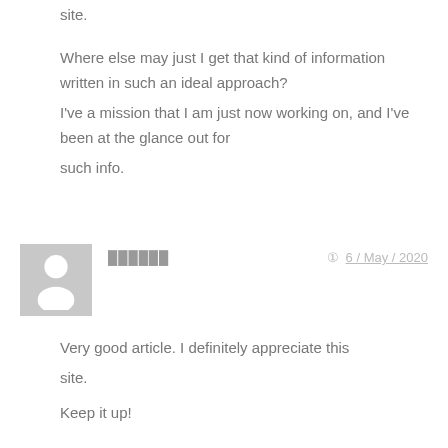site.
Where else may just I get that kind of information written in such an ideal approach?
I've a mission that I am just now working on, and I've been at the glance out for such info.
██████
6 / May / 2020
[Figure (illustration): Gray placeholder avatar icon showing a silhouette of a person]
Very good article. I definitely appreciate this site.
Keep it up!